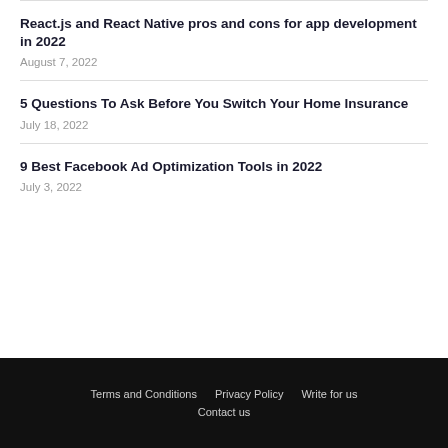React.js and React Native pros and cons for app development in 2022
August 7, 2022
5 Questions To Ask Before You Switch Your Home Insurance
July 18, 2022
9 Best Facebook Ad Optimization Tools in 2022
July 3, 2022
Terms and Conditions  Privacy Policy  Write for us  Contact us